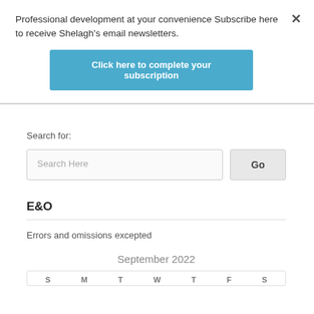Professional development at your convenience Subscribe here to receive Shelagh's email newsletters.
Click here to complete your subscription
Search for:
Search Here
Go
E&O
Errors and omissions excepted
September 2022